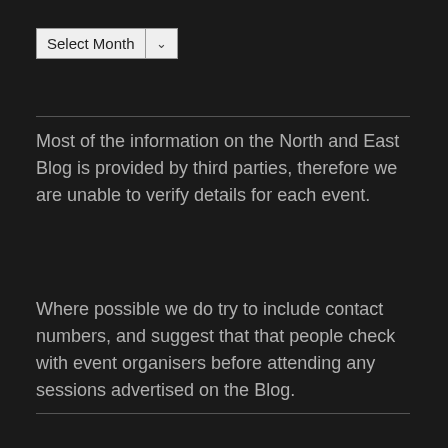[Figure (other): A dropdown/select box labeled 'Select Month' with a chevron arrow on a light gray background]
Most of the information on the North and East Blog is provided by third parties, therefore we are unable to verify details for each event.
Where possible we do try to include contact numbers, and suggest that that people check with event organisers before attending any sessions advertised on the Blog.